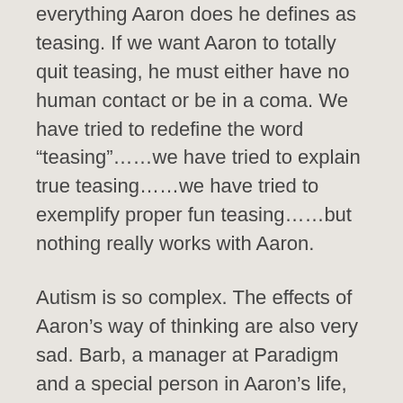everything Aaron does he defines as teasing.  If we want Aaron to totally quit teasing, he must either have no human contact or be in a coma.  We have tried to redefine the word “teasing”……we have tried to explain true teasing……we have tried to exemplify proper fun teasing…..but nothing really works with Aaron.
Autism is so complex.  The effects of Aaron’s way of thinking are also very sad.  Barb, a manager at Paradigm and a special person in Aaron’s life,  told me yesterday how sad it was to watch Aaron trying to fit in.  We see it at home all the time, especially when the whole family is together.  I wrote about his breakdown at Christmas.  Aaron so wants to be a part of a group, but his attempts often result in deep frustration for him because his attempts fall short of